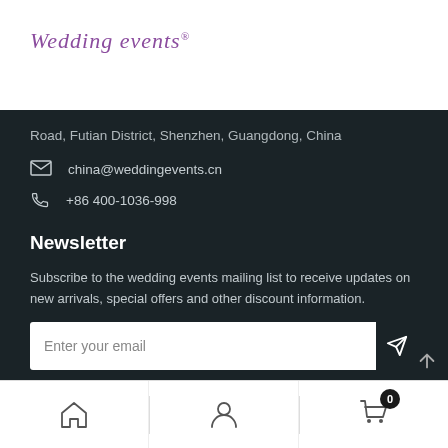[Figure (logo): Wedding events script logo in purple/violet italic text with registered trademark symbol]
Road, Futian District, Shenzhen, Guangdong, China
china@weddingevents.cn
+86 400-1036-998
Newsletter
Subscribe to the wedding events mailing list to receive updates on new arrivals, special offers and other discount information.
Enter your email
Home | Account | Cart (0)